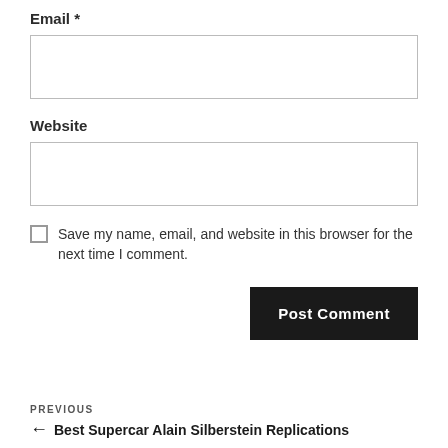Email *
[Figure (other): Empty text input box for Email]
Website
[Figure (other): Empty text input box for Website]
Save my name, email, and website in this browser for the next time I comment.
Post Comment
PREVIOUS ← Best Supercar Alain Silberstein Replications